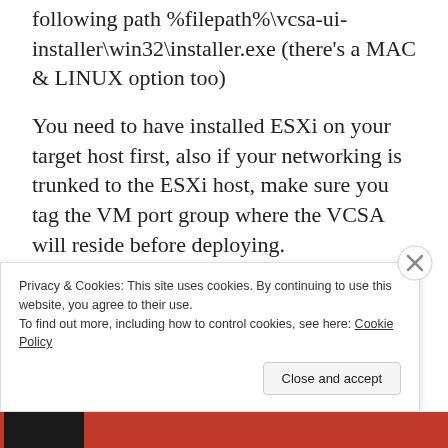following path %filepath%\vcsa-ui-installer\win32\installer.exe (there's a MAC & LINUX option too)
You need to have installed ESXi on your target host first, also if your networking is trunked to the ESXi host, make sure you tag the VM port group where the VCSA will reside before deploying.
By default this installer will enable the MGMT VMK for VSAN, this was fine with me as once
Privacy & Cookies: This site uses cookies. By continuing to use this website, you agree to their use.
To find out more, including how to control cookies, see here: Cookie Policy